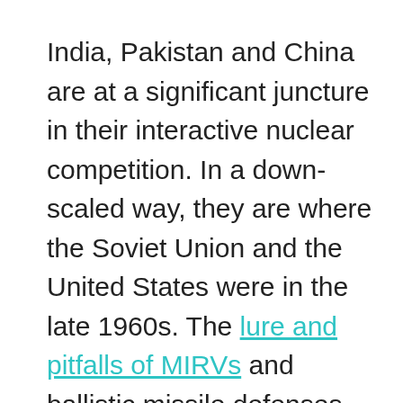India, Pakistan and China are at a significant juncture in their interactive nuclear competition. In a down-scaled way, they are where the Soviet Union and the United States were in the late 1960s. The lure and pitfalls of MIRVs and ballistic missile defenses beckon. Counterforce capabilities will then entice, along with attendant concerns of preemption. All of this – plus cruise missiles and the revolution in conventional counterforce capabilities – is playing out in a far more compressed timeline in South Asia than was the case for